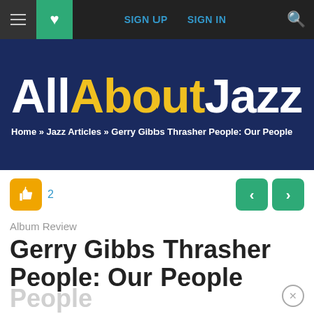≡ ♥ SIGN UP  SIGN IN  🔍
[Figure (logo): AllAboutJazz website logo on dark navy background with breadcrumb navigation: Home » Jazz Articles » Gerry Gibbs Thrasher People: Our People]
2
Album Review
Gerry Gibbs Thrasher People: Our People